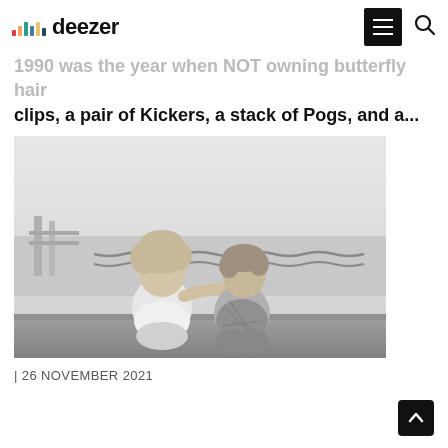deezer
1990 was the year when NOT owning butterfly hair clips, a pair of Kickers, a stack of Pogs, and a...
[Figure (photo): Black and white photo of two young children sitting side by side outdoors, one with curly hair and one with short hair, with a chain railing and water/bridge in the background. The curly-haired child has arm around the other.]
| 26 NOVEMBER 2021